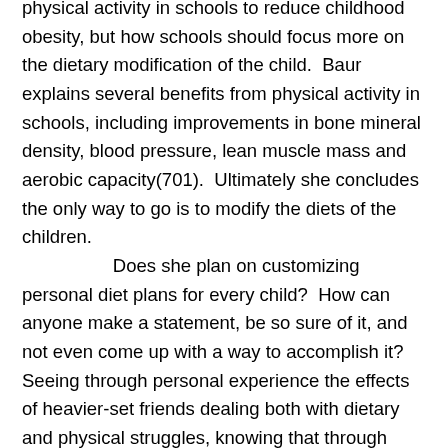physical activity in schools to reduce childhood obesity, but how schools should focus more on the dietary modification of the child.  Baur explains several benefits from physical activity in schools, including improvements in bone mineral density, blood pressure, lean muscle mass and aerobic capacity(701).  Ultimately she concludes the only way to go is to modify the diets of the children.

Does she plan on customizing personal diet plans for every child?  How can anyone make a statement, be so sure of it, and not even come up with a way to accomplish it?  Seeing through personal experience the effects of heavier-set friends dealing both with dietary and physical struggles, knowing that through staying active and maintaining a healthy diet, great things can be accomplished.

Candida Hunt, the author of, "Tackling Childhood